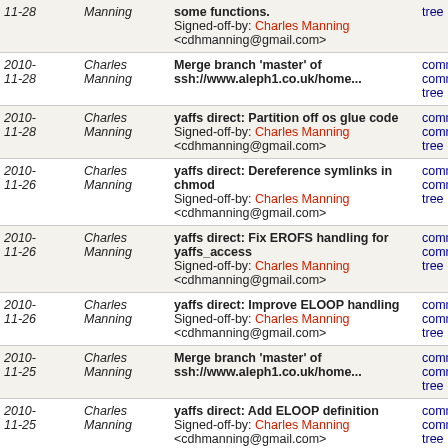| Date | Author | Message | Links |
| --- | --- | --- | --- |
| 2010-11-28 | Charles Manning | Merge branch 'master' of ssh://www.aleph1.co.uk/home... | commit | commitdiff | tree |
| 2010-11-28 | Charles Manning | yaffs direct: Partition off os glue code
Signed-off-by: Charles Manning <cdhmanning@gmail.com> | commit | commitdiff | tree |
| 2010-11-26 | Charles Manning | yaffs direct: Dereference symlinks in chmod
Signed-off-by: Charles Manning <cdhmanning@gmail.com> | commit | commitdiff | tree |
| 2010-11-26 | Charles Manning | yaffs direct: Fix EROFS handling for yaffs_access
Signed-off-by: Charles Manning <cdhmanning@gmail.com> | commit | commitdiff | tree |
| 2010-11-26 | Charles Manning | yaffs direct: Improve ELOOP handling
Signed-off-by: Charles Manning <cdhmanning@gmail.com> | commit | commitdiff | tree |
| 2010-11-25 | Charles Manning | Merge branch 'master' of ssh://www.aleph1.co.uk/home... | commit | commitdiff | tree |
| 2010-11-25 | Charles Manning | yaffs direct: Add ELOOP definition
Signed-off-by: Charles Manning <cdhmanning@gmail.com> | commit | commitdiff | tree |
| 2010-11-24 | Charles Manning | yaffs direct: Fix error for attempting to rename over...
Signed-off-by: Charles Manning | commit | commitdiff | tree |